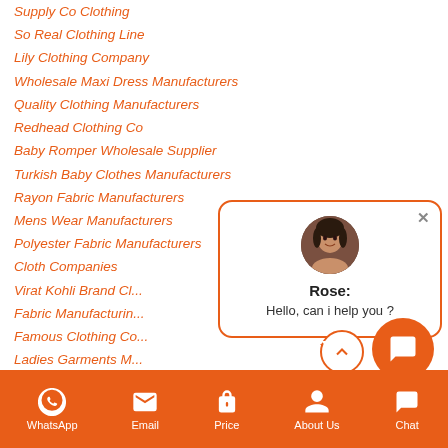Supply Co Clothing
So Real Clothing Line
Lily Clothing Company
Wholesale Maxi Dress Manufacturers
Quality Clothing Manufacturers
Redhead Clothing Co
Baby Romper Wholesale Supplier
Turkish Baby Clothes Manufacturers
Rayon Fabric Manufacturers
Mens Wear Manufacturers
Polyester Fabric Manufacturers
Cloth Companies
Virat Kohli Brand Cl...
Fabric Manufacturin...
Famous Clothing Co...
Ladies Garments M...
Grey Fabric Manufa...
Vision Clothing Brand
On Demand Clothing Manufacturing
Dtg Company
Hello Baby Garments
[Figure (illustration): Chat popup with avatar photo of Rose, text 'Rose: Hello, can i help you ?', close button, and orange chat button circle below]
WhatsApp   Email   Price   About Us   Chat